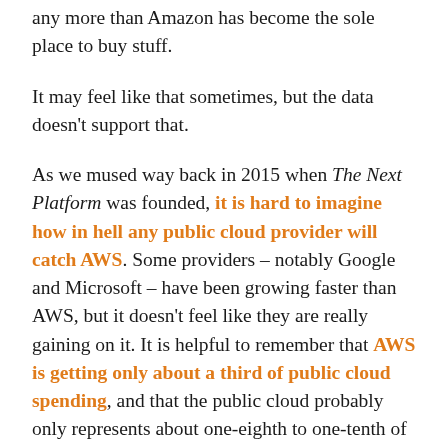any more than Amazon has become the sole place to buy stuff.
It may feel like that sometimes, but the data doesn't support that.
As we mused way back in 2015 when The Next Platform was founded, it is hard to imagine how in hell any public cloud provider will catch AWS. Some providers – notably Google and Microsoft – have been growing faster than AWS, but it doesn't feel like they are really gaining on it. It is helpful to remember that AWS is getting only about a third of public cloud spending, and that the public cloud probably only represents about one-eighth to one-tenth of the worldwide spending on datacenter systems and enterprise software together. (Around $614 billion in total for 2019 is the latest projection we have seen from the prognosticators at